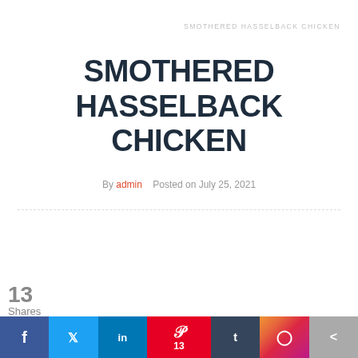SMOTHERED HASSELBACK CHICKEN
SMOTHERED HASSELBACK CHICKEN
By admin   Posted on July 25, 2021
[Figure (infographic): Social sharing bar with Facebook, Twitter, LinkedIn, Pinterest (13 shares), Tumblr, Instagram, and share buttons at bottom of page. Share count: 13.]